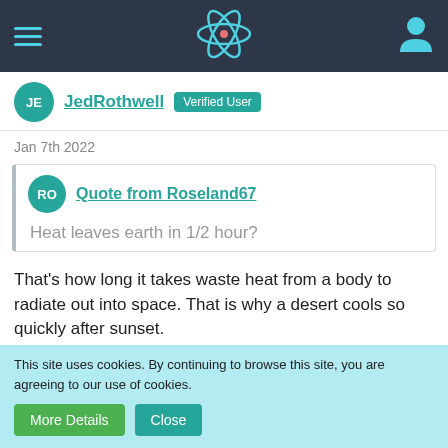Navigation bar with hamburger menu, React logo, and user icon
JE  JedRothwell  Verified User
Jan 7th 2022
Quote from Roseland67
Heat leaves earth in 1/2 hour?
That's how long it takes waste heat from a body to radiate out into space. That is why a desert cools so quickly after sunset.
Quote from Roseland67
I have built many models and it some cars it takes decades
This site uses cookies. By continuing to browse this site, you are agreeing to our use of cookies.